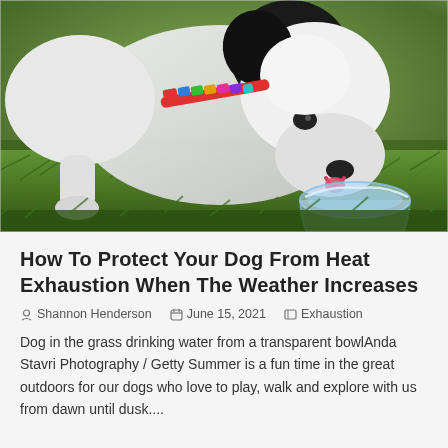[Figure (photo): A black and white French Bulldog wearing a colorful collar, drinking water from a transparent glass bowl on green grass. Blurred green background with warm light.]
How To Protect Your Dog From Heat Exhaustion When The Weather Increases
Shannon Henderson   June 15, 2021   Exhaustion
Dog in the grass drinking water from a transparent bowlAnda Stavri Photography / Getty Summer is a fun time in the great outdoors for our dogs who love to play, walk and explore with us from dawn until dusk....